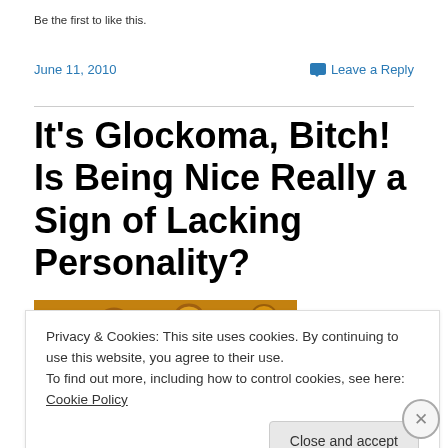Be the first to like this.
June 11, 2010   Leave a Reply
It's Glockoma, Bitch! Is Being Nice Really a Sign of Lacking Personality?
[Figure (photo): Close-up photo of pasta rings (like SpaghettiOs) in orange/red sauce in a bowl]
Privacy & Cookies: This site uses cookies. By continuing to use this website, you agree to their use.
To find out more, including how to control cookies, see here: Cookie Policy